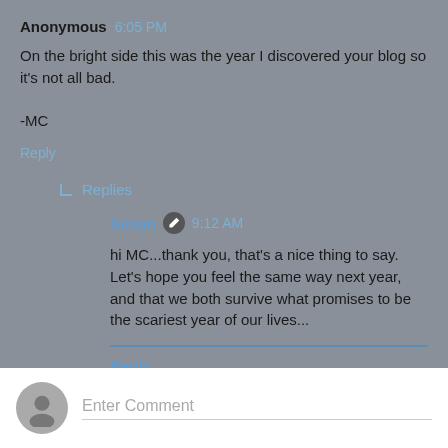Anonymous 6:05 PM
On the bright side this was the year I discovered your blog so it's not all bad.

-MC
Reply
Replies
Simon 9:12 AM
hi MC...thank you, that's a nice thing to say. Let's hope you feel the same way next year, and that we both survive what promises to be the scariest year of our lives...
Reply
Enter Comment